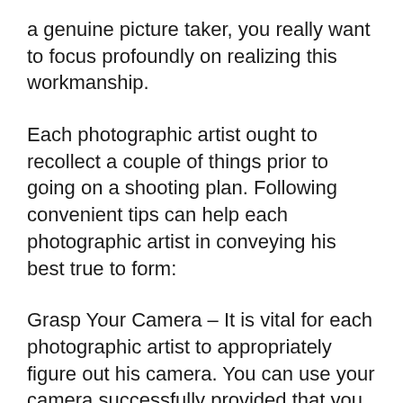a genuine picture taker, you really want to focus profoundly on realizing this workmanship.
Each photographic artist ought to recollect a couple of things prior to going on a shooting plan. Following convenient tips can help each photographic artist in conveying his best true to form:
Grasp Your Camera – It is vital for each photographic artist to appropriately figure out his camera. You can use your camera successfully provided that you are knowledgeable with every one of the capacities being given by camera. The most effective way to comprehend your camera is to shoot a couple of rolls of film to evaluate